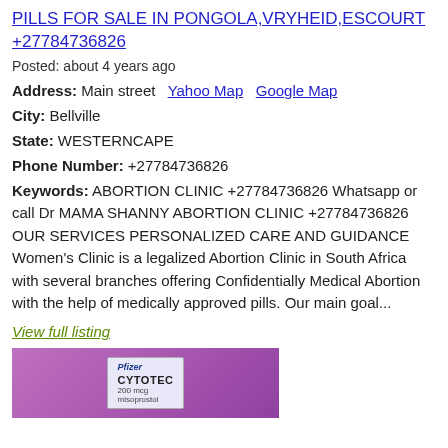PILLS FOR SALE IN PONGOLA,VRYHEID,ESCOURT +27784736826
Posted: about 4 years ago
Address: Main street  Yahoo Map  Google Map
City: Bellville
State: WESTERNCAPE
Phone Number: +27784736826
Keywords: ABORTION CLINIC +27784736826 Whatsapp or call Dr MAMA SHANNY ABORTION CLINIC +27784736826 OUR SERVICES PERSONALIZED CARE AND GUIDANCE Women's Clinic is a legalized Abortion Clinic in South Africa with several branches offering Confidentially Medical Abortion with the help of medically approved pills. Our main goal...
View full listing
[Figure (photo): Photo of Cytotec pill box on purple/pink background]